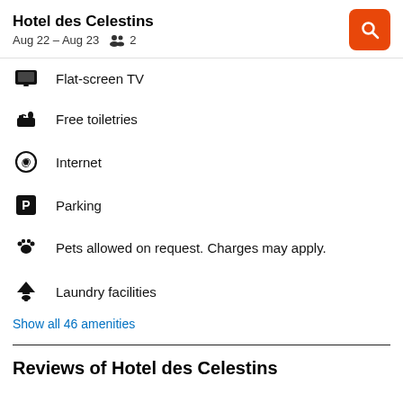Hotel des Celestins — Aug 22 – Aug 23, 2 guests
Flat-screen TV
Free toiletries
Internet
Parking
Pets allowed on request. Charges may apply.
Laundry facilities
Show all 46 amenities
Reviews of Hotel des Celestins